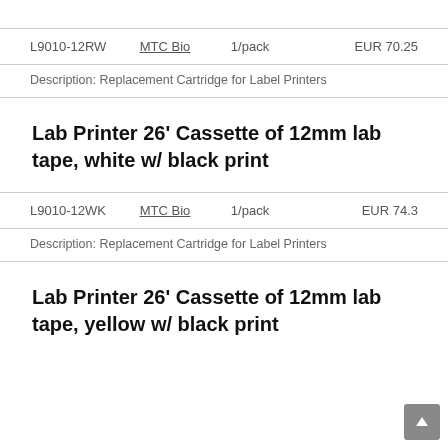| SKU | Brand | Qty | Price |
| --- | --- | --- | --- |
| L9010-12RW | MTC Bio | 1/pack | EUR 70.25 |
Description: Replacement Cartridge for Label Printers
Lab Printer 26' Cassette of 12mm lab tape, white w/ black print
| SKU | Brand | Qty | Price |
| --- | --- | --- | --- |
| L9010-12WK | MTC Bio | 1/pack | EUR 74.3 |
Description: Replacement Cartridge for Label Printers
Lab Printer 26' Cassette of 12mm lab tape, yellow w/ black print